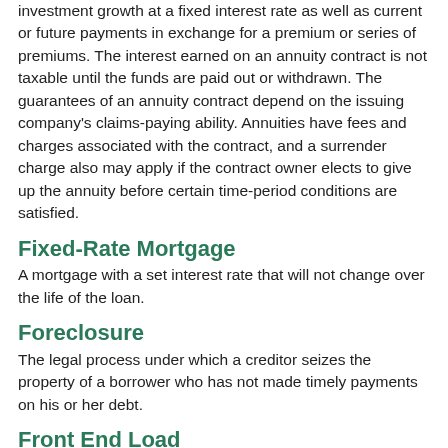investment growth at a fixed interest rate as well as current or future payments in exchange for a premium or series of premiums. The interest earned on an annuity contract is not taxable until the funds are paid out or withdrawn. The guarantees of an annuity contract depend on the issuing company's claims-paying ability. Annuities have fees and charges associated with the contract, and a surrender charge also may apply if the contract owner elects to give up the annuity before certain time-period conditions are satisfied.
Fixed-Rate Mortgage
A mortgage with a set interest rate that will not change over the life of the loan.
Foreclosure
The legal process under which a creditor seizes the property of a borrower who has not made timely payments on his or her debt.
Front End Load